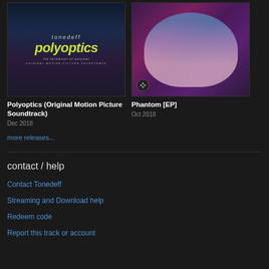[Figure (illustration): Album cover for Polyoptics - dark blue/purple background with silhouette figure, yellow-green stylized text 'polyoptics' with 'tonedeff' above and 'the formation of polymer / Original Motion Picture Soundtrack' below]
Polyoptics (Original Motion Picture Soundtrack)
Dec 2018
[Figure (illustration): Album cover for Phantom EP - dark purple/pink background showing a figure lying down with scattered pill-like objects]
Phantom [EP]
Oct 2018
more releases...
contact / help
Contact Tonedeff
Streaming and Download help
Redeem code
Report this track or account